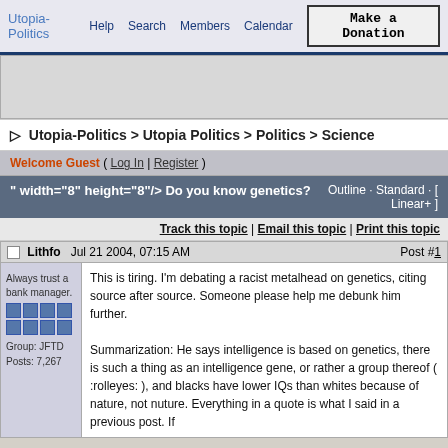Utopia-Politics  Help  Search  Members  Calendar  Make a Donation
[Figure (screenshot): Ad banner area (gray placeholder)]
▷  Utopia-Politics > Utopia Politics > Politics > Science
Welcome Guest ( Log In | Register )
" width="8" height="8"/> Do you know genetics?      Outline · Standard · [ Linear+ ]
Track this topic | Email this topic | Print this topic
Lithfo   ☐ Jul 21 2004, 07:15 AM   Post #1
Always trust a bank manager.
Group: JFTD
Posts: 7,267
This is tiring. I'm debating a racist metalhead on genetics, citing source after source. Someone please help me debunk him further.

Summarization: He says intelligence is based on genetics, there is such a thing as an intelligence gene, or rather a group thereof ( :rolleyes: ), and blacks have lower IQs than whites because of nature, not nuture. Everything in a quote is what I said in a previous post. If